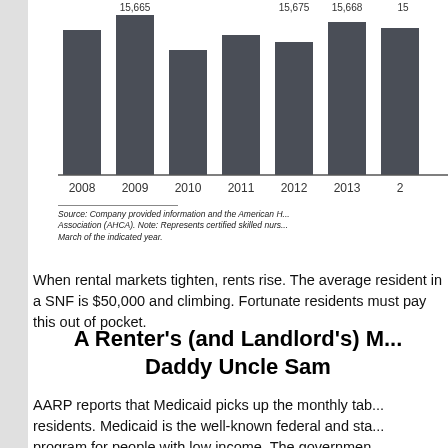[Figure (bar-chart): Certified Skilled Nursing Facilities by Year]
Source: Company provided information and the American H... Association (AHCA). Note: Represents certified skilled nurs... March of the indicated year.
When rental markets tighten, rents rise. The average resident in a SNF is $50,000 and climbing. Fortunate residents must pay this out of pocket.
A Renter's (and Landlord's) D... Daddy Uncle Sam
AARP reports that Medicaid picks up the monthly tab residents. Medicaid is the well-known federal and sta program for people with low income. The governmen